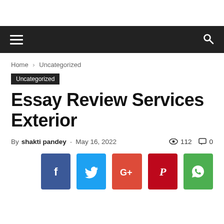Home › Uncategorized
Uncategorized
Essay Review Services Exterior
By shakti pandey - May 16, 2022   112   0
[Figure (other): Social share buttons: Facebook, Twitter, Google+, Pinterest, WhatsApp]